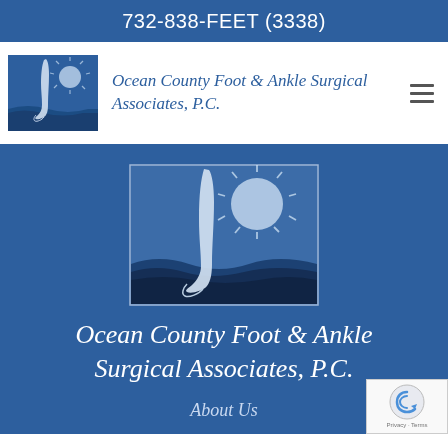732-838-FEET (3338)
[Figure (logo): Ocean County Foot & Ankle Surgical Associates logo: a stylized leg/ankle over waves with a sun in the background, in blue and white tones.]
Ocean County Foot & Ankle Surgical Associates, P.C.
[Figure (logo): Larger version of Ocean County Foot & Ankle Surgical Associates logo centered on dark blue background.]
Ocean County Foot & Ankle Surgical Associates, P.C.
About Us